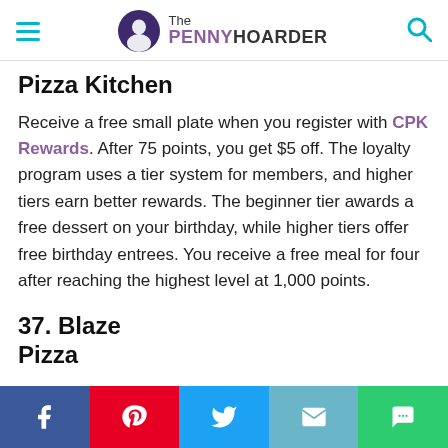The PENNY HOARDER
Pizza Kitchen
Receive a free small plate when you register with CPK Rewards. After 75 points, you get $5 off. The loyalty program uses a tier system for members, and higher tiers earn better rewards. The beginner tier awards a free dessert on your birthday, while higher tiers offer free birthday entrees. You receive a free meal for four after reaching the highest level at 1,000 points.
37. Blaze Pizza
With the Blaze Rewards program, every $1 earns one “flame.” Redeem 30 flames for a free drink or dessert. Online